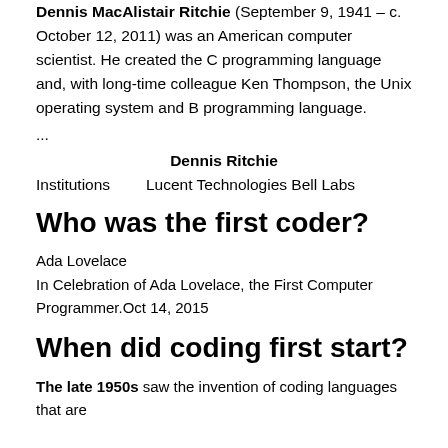Dennis MacAlistair Ritchie (September 9, 1941 – c. October 12, 2011) was an American computer scientist. He created the C programming language and, with long-time colleague Ken Thompson, the Unix operating system and B programming language.
...
Dennis Ritchie
Institutions    Lucent Technologies Bell Labs
Who was the first coder?
Ada Lovelace
In Celebration of Ada Lovelace, the First Computer Programmer.Oct 14, 2015
When did coding first start?
The late 1950s saw the invention of coding languages that are